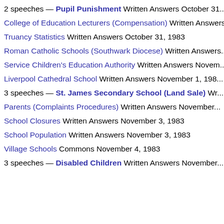2 speeches — Pupil Punishment Written Answers October 31...
College of Education Lecturers (Compensation) Written Answers...
Truancy Statistics Written Answers October 31, 1983
Roman Catholic Schools (Southwark Diocese) Written Answers...
Service Children's Education Authority Written Answers November...
Liverpool Cathedral School Written Answers November 1, 1983...
3 speeches — St. James Secondary School (Land Sale) Written Answers...
Parents (Complaints Procedures) Written Answers November...
School Closures Written Answers November 3, 1983
School Population Written Answers November 3, 1983
Village Schools Commons November 4, 1983
3 speeches — Disabled Children Written Answers November...